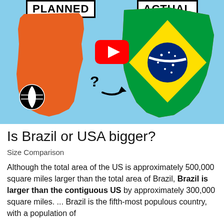[Figure (infographic): YouTube thumbnail showing PLANNED vs ACTUAL size comparison of Brazil and USA maps. Left side shows orange USA silhouette labeled PLANNED, right side shows Brazil map with Brazilian flag overlay labeled ACTUAL, with a YouTube play button in center and question mark with arrow between maps. Globe icon at bottom left.]
Is Brazil or USA bigger?
Size Comparison
Although the total area of the US is approximately 500,000 square miles larger than the total area of Brazil, Brazil is larger than the contiguous US by approximately 300,000 square miles. ... Brazil is the fifth-most populous country, with a population of